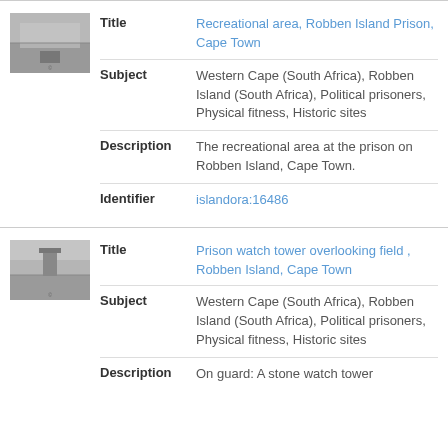[Figure (photo): Thumbnail black and white photo of recreational area at Robben Island Prison]
| Field | Value |
| --- | --- |
| Title | Recreational area, Robben Island Prison, Cape Town |
| Subject | Western Cape (South Africa), Robben Island (South Africa), Political prisoners, Physical fitness, Historic sites |
| Description | The recreational area at the prison on Robben Island, Cape Town. |
| Identifier | islandora:16486 |
[Figure (photo): Thumbnail black and white photo of prison watch tower overlooking field on Robben Island]
| Field | Value |
| --- | --- |
| Title | Prison watch tower overlooking field , Robben Island, Cape Town |
| Subject | Western Cape (South Africa), Robben Island (South Africa), Political prisoners, Physical fitness, Historic sites |
| Description | On guard: A stone watch tower |